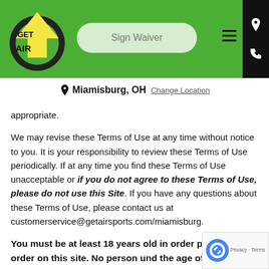Get Air — Sign Waiver — Miamisburg, OH
appropriate.
We may revise these Terms of Use at any time without notice to you. It is your responsibility to review these Terms of Use periodically. If at any time you find these Terms of Use unacceptable or if you do not agree to these Terms of Use, please do not use this Site. If you have any questions about these Terms of Use, please contact us at customerservice@getairsports.com/miamisburg.
You must be at least 18 years old in order place an order on this site. No person und the age of 18 may use or access this Site